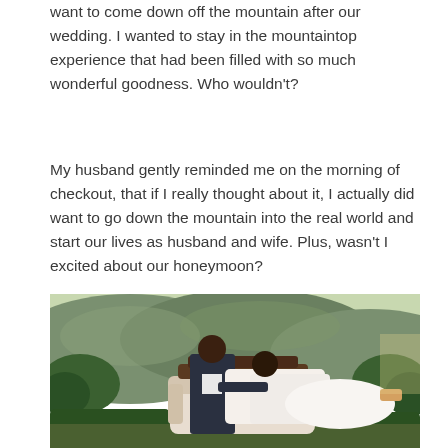want to come down off the mountain after our wedding. I wanted to stay in the mountaintop experience that had been filled with so much wonderful goodness. Who wouldn't?
My husband gently reminded me on the morning of checkout, that if I really thought about it, I actually did want to go down the mountain into the real world and start our lives as husband and wife. Plus, wasn't I excited about our honeymoon?
[Figure (photo): A couple in wedding attire sitting on an ornate vintage sofa outdoors, with green mountains and trees in the background. The groom is in a dark suit and the bride is in a white wedding dress.]